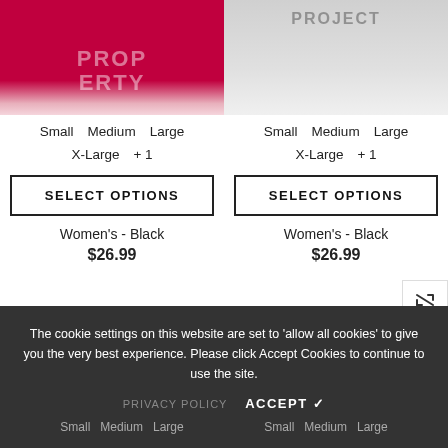[Figure (photo): Red/crimson tank top with 'PROPERTY' text watermark, shown partially from neckline down]
[Figure (photo): Light gray tank top with 'PROJECT' text watermark, shown partially from neckline down]
Small  Medium  Large
X-Large  + 1
Small  Medium  Large
X-Large  + 1
SELECT OPTIONS
SELECT OPTIONS
Women's - Black
Women's - Black
$26.99
$26.99
The cookie settings on this website are set to 'allow all cookies' to give you the very best experience. Please click Accept Cookies to continue to use the site.
PRIVACY POLICY   ACCEPT ✓
Small  Medium  Large        Small  Medium  Large